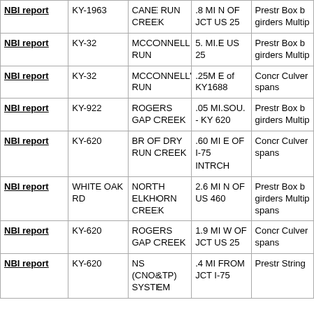|  |  |  |  |  |
| --- | --- | --- | --- | --- |
| NBI report | KY-1963 | CANE RUN CREEK | .8 MI N OF JCT US 25 | Prestr Box b girders Multip |
| NBI report | KY-32 | MCCONNELL RUN | 5. MI.E US 25 | Prestr Box b girders Multip |
| NBI report | KY-32 | MCCONNELL'S RUN | .25M E of KY1688 | Concr Culver spans |
| NBI report | KY-922 | ROGERS GAP CREEK | .05 MI.SOU. - KY 620 | Prestr Box b girders Multip |
| NBI report | KY-620 | BR OF DRY RUN CREEK | .60 MI E OF I-75 INTRCH | Concr Culver spans |
| NBI report | WHITE OAK RD | NORTH ELKHORN CREEK | 2.6 MI N OF US 460 | Prestr Box b girders Multip spans |
| NBI report | KY-620 | ROGERS GAP CREEK | 1.9 MI W OF JCT US 25 | Concr Culver spans |
| NBI report | KY-620 | NS (CNO&TP) SYSTEM | .4 MI FROM JCT I-75 | Prestr String |